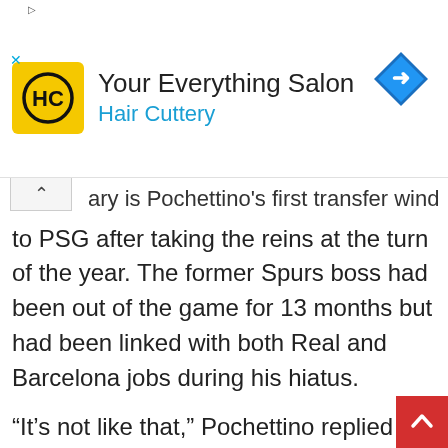[Figure (logo): Hair Cuttery advertisement banner with HC yellow logo, title 'Your Everything Salon', subtitle 'Hair Cuttery', and blue diamond navigation icon]
...ary is Pochettino's first transfer window to PSG after taking the reins at the turn of the year. The former Spurs boss had been out of the game for 13 months but had been linked with both Real and Barcelona jobs during his hiatus.
“It’s not like that,” Pochettino replied when asked if he had previously turned down Real and Barcelona. “There was a lot of talk. We have great respect for the teams who have